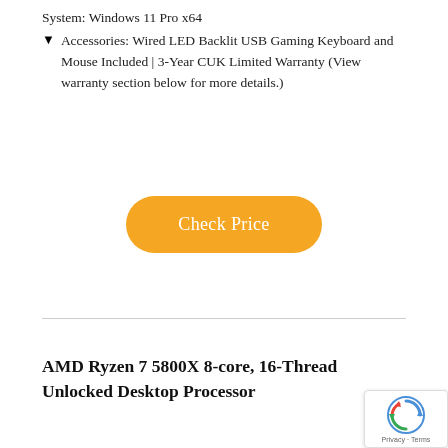System: Windows 11 Pro x64
Accessories: Wired LED Backlit USB Gaming Keyboard and Mouse Included | 3-Year CUK Limited Warranty (View warranty section below for more details.)
[Figure (other): Orange pill-shaped button with white text reading 'Check Price']
AMD Ryzen 7 5800X 8-core, 16-Thread Unlocked Desktop Processor
[Figure (other): Google reCAPTCHA badge with spinning arrows logo and 'Privacy - Terms' text]